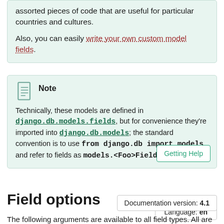assorted pieces of code that are useful for particular countries and cultures.
Also, you can easily write your own custom model fields.
Note
Technically, these models are defined in django.db.models.fields, but for convenience they're imported into django.db.models; the standard convention is to use from django.db import models and refer to fields as models.<Foo>Field.
Getting Help
Language: en
Field options
Documentation version: 4.1
The following arguments are available to all field types. All are